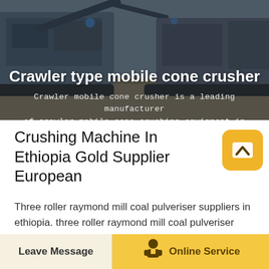[Figure (photo): Hero image of crawler type mobile cone crusher machinery, industrial equipment on outdoor ground]
Crawler type mobile cone crusher
Crawler mobile cone crusher is a leading manufacturer of crawler mobile cone crushing equipment in China,...
Crushing Machine In Ethiopia Gold Supplier European
Three roller raymond mill coal pulveriser suppliers in ethiopia. three roller raymond mill coal pulveriser suppliers raymond coal mill pulverizer in thermal power plant ppt Gulin provide the raymond Raymond MillMineral Grinding MillsRoller Grinder Machine
Leave Message  Online Service